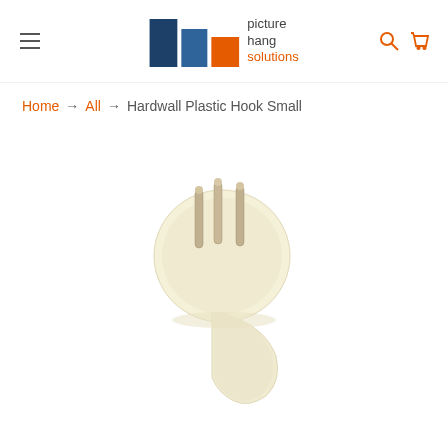[Figure (logo): Picture Hang Solutions logo with colored squares (dark blue, medium blue, orange) and text 'picture hang solutions' in dark/orange]
Home → All → Hardwall Plastic Hook Small
[Figure (photo): Hardwall Plastic Hook Small - cream/ivory colored plastic hook with three metal pins protruding from the top circular disc portion, photographed on white background]